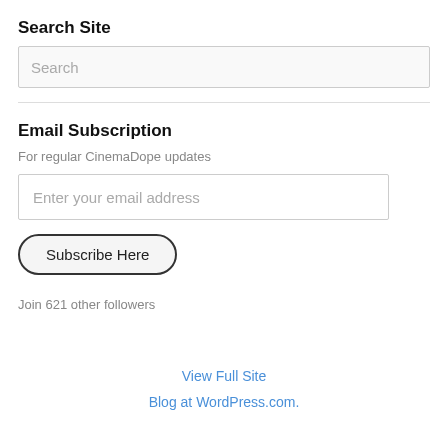Search Site
[Figure (screenshot): Search input box with placeholder text 'Search']
Email Subscription
For regular CinemaDope updates
[Figure (screenshot): Email input box with placeholder text 'Enter your email address']
[Figure (screenshot): Subscribe Here button with rounded pill border]
Join 621 other followers
View Full Site
Blog at WordPress.com.